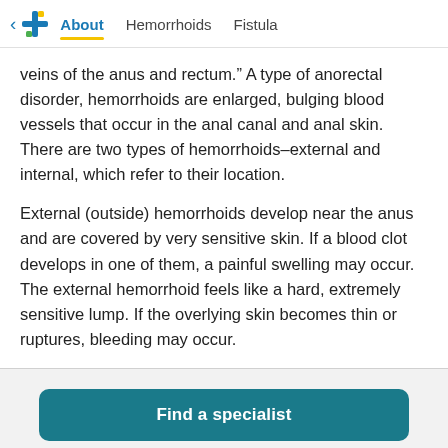< [logo] About  Hemorrhoids  Fistula
veins of the anus and rectum.” A type of anorectal disorder, hemorrhoids are enlarged, bulging blood vessels that occur in the anal canal and anal skin. There are two types of hemorrhoids–external and internal, which refer to their location.
External (outside) hemorrhoids develop near the anus and are covered by very sensitive skin. If a blood clot develops in one of them, a painful swelling may occur. The external hemorrhoid feels like a hard, extremely sensitive lump. If the overlying skin becomes thin or ruptures, bleeding may occur.
Find a specialist